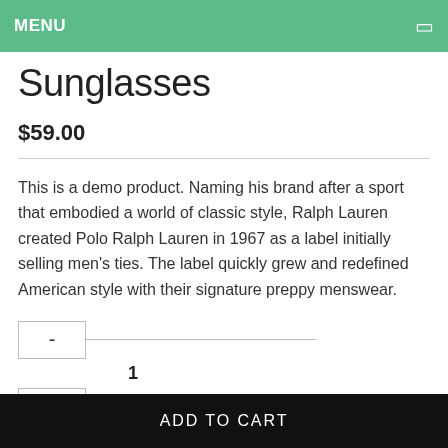MENU
Sunglasses
$59.00
This is a demo product. Naming his brand after a sport that embodied a world of classic style, Ralph Lauren created Polo Ralph Lauren in 1967 as a label initially selling men's ties. The label quickly grew and redefined American style with their signature preppy menswear.
- 1 +
ADD TO CART